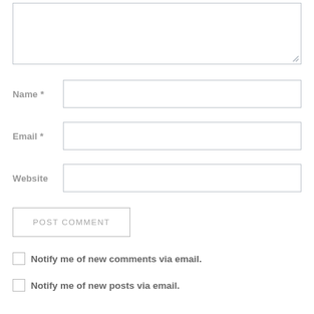[Figure (screenshot): Comment form with textarea, Name field, Email field, Website field, POST COMMENT button, and two checkbox options for notifications]
Name *
Email *
Website
POST COMMENT
Notify me of new comments via email.
Notify me of new posts via email.